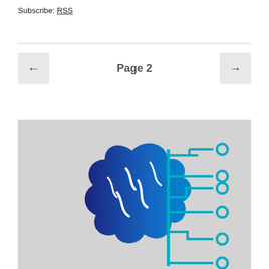Subscribe: RSS
← Page 2 →
[Figure (logo): AI brain circuit logo — left half is a dark blue organic brain shape, right half is a teal circuit board pattern with lines and circular nodes, on a light grey background.]